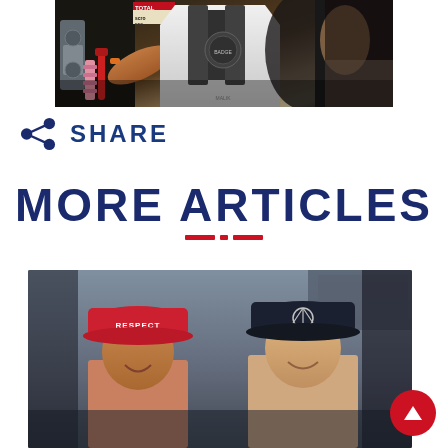[Figure (photo): A mechanic in a white polo shirt working on a vehicle engine/suspension part. Signs visible including TOTAL. Multiple people visible in background. Close-up pit lane or garage scene.]
SHARE
MORE ARTICLES
[Figure (photo): Two people wearing caps smiling. One wearing a pink/red cap with RESPECT text, the other wearing a dark navy Mercedes-Benz cap. Outdoor setting with grey sky background.]